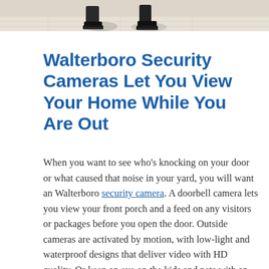[Figure (photo): Cropped photo showing the bottom of two people's legs and feet wearing dark shoes on a light wood floor surface, visible only as a strip at the top of the page.]
Walterboro Security Cameras Let You View Your Home While You Are Out
When you want to see who's knocking on your door or what caused that noise in your yard, you will want an Walterboro security camera. A doorbell camera lets you view your front porch and a feed on any visitors or packages before you open the door. Outside cameras are activated by motion, with low-light and waterproof designs that deliver video with HD quality. Or keep an eye on the kids and pets with an interior, wide angle camera.